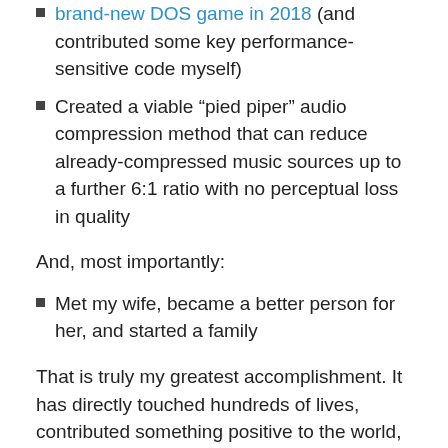brand-new DOS game in 2018 (and contributed some key performance-sensitive code myself)
Created a viable “pied piper” audio compression method that can reduce already-compressed music sources up to a further 6:1 ratio with no perceptual loss in quality
And, most importantly:
Met my wife, became a better person for her, and started a family
That is truly my greatest accomplishment. It has directly touched hundreds of lives, contributed something positive to the world, and will outlive me by many decades, if not centuries.
But this person is going away, and this is the third-last post